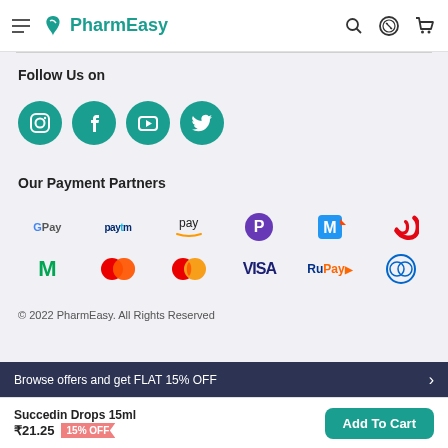PharmEasy
Follow Us on
[Figure (logo): Social media icons: Instagram, Facebook, YouTube, Twitter — teal circular buttons]
Our Payment Partners
[Figure (logo): Payment partner logos: G Pay, Paytm, Amazon Pay, PhonePe, Mobikwik, Airtel, Mobikwik M, Mastercard red-blue, Mastercard, VISA, RuPay, Diners Club]
© 2022 PharmEasy. All Rights Reserved
Browse offers and get FLAT 15% OFF
Succedin Drops 15ml ₹21.25 15% OFF Add To Cart